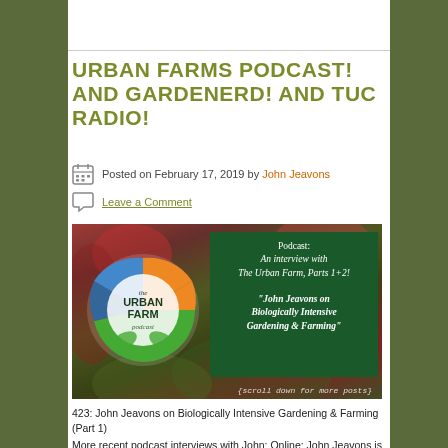URBAN FARMS PODCAST! AND GARDENERD! AND TUC RADIO!
Posted on February 17, 2019 by John Jeavons
Leave a Comment
[Figure (photo): Urban Farm Podcast promotional image with logo and green panel describing podcast interview with John Jeavons on Biologically Intensive Gardening & Farming]
423: John Jeavons on Biologically Intensive Gardening & Farming (Part 1)
More recent podcast interviews with John: Online: John Jeavons is